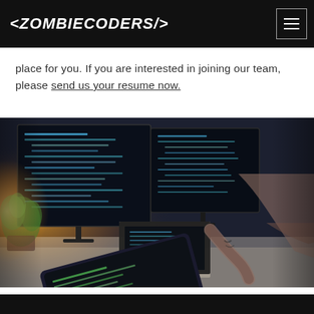<ZOMBIECODERS/>
place for you. If you are interested in joining our team, please send us your resume now.
[Figure (photo): A developer's workspace with multiple monitors displaying code, a laptop, a tablet being pointed at with a tattooed hand, and a plant in the background with warm sunlight.]